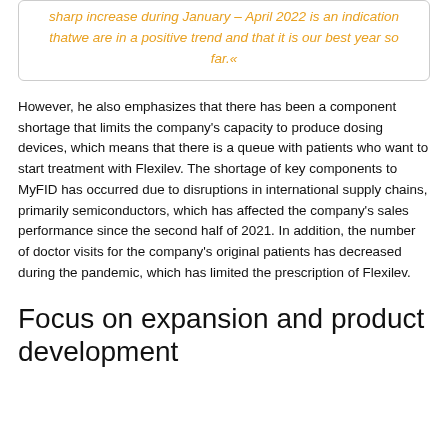sharp increase during January – April 2022 is an indication thatwe are in a positive trend and that it is our best year so far.«
However, he also emphasizes that there has been a component shortage that limits the company's capacity to produce dosing devices, which means that there is a queue with patients who want to start treatment with Flexilev. The shortage of key components to MyFID has occurred due to disruptions in international supply chains, primarily semiconductors, which has affected the company's sales performance since the second half of 2021. In addition, the number of doctor visits for the company's original patients has decreased during the pandemic, which has limited the prescription of Flexilev.
Focus on expansion and product development